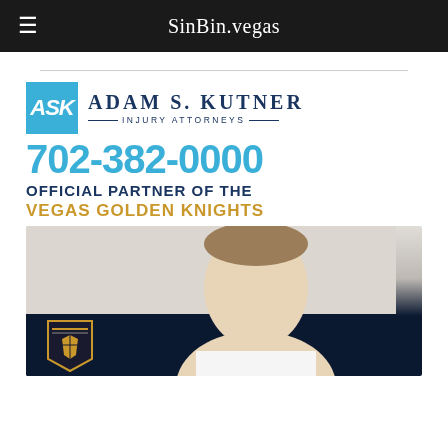SinBin.vegas
[Figure (logo): Adam S. Kutner Injury Attorneys advertisement. Blue ASK square logo, attorney name, phone number 702-382-0000, Official Partner of the Vegas Golden Knights, photo of attorney with VGK shield logo.]